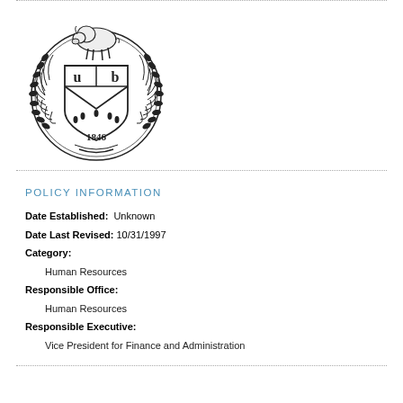[Figure (logo): University at Buffalo (UB) circular seal/crest featuring a bison atop a shield with letters U and B, five torches, laurel wreath branches, and the year 1846]
POLICY INFORMATION
Date Established: Unknown
Date Last Revised: 10/31/1997
Category:
Human Resources
Responsible Office:
Human Resources
Responsible Executive:
Vice President for Finance and Administration